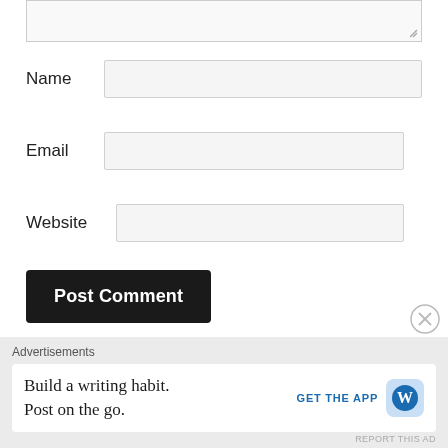[Figure (screenshot): Partial textarea (top cut off) with resize handle at bottom-right]
Name
[Figure (screenshot): Name input field (empty text box)]
Email
[Figure (screenshot): Email input field (empty text box)]
Website
[Figure (screenshot): Website input field (empty text box)]
Post Comment
Notify me of new comments via email.
Advertisements
Build a writing habit.
Post on the go.
GET THE APP
[Figure (logo): WordPress logo icon in blue rounded square]
REPORT THIS AD